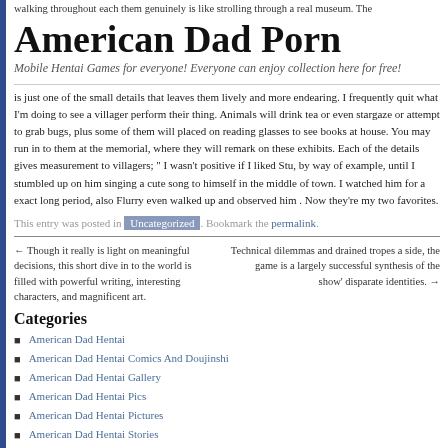walking throughout each them genuinely is like strolling through a real museum. The
American Dad Porn
Mobile Hentai Games for everyone! Everyone can enjoy collection here for free!
is just one of the small details that leaves them lively and more endearing. I frequently quit what I'm doing to see a villager perform their thing. Animals will drink tea or even stargaze or attempt to grab bugs, plus some of them will placed on reading glasses to see books at house. You may run in to them at the memorial, where they will remark on these exhibits. Each of the details gives measurement to villagers; " I wasn't positive if I liked Stu, by way of example, until I stumbled up on him singing a cute song to himself in the middle of town. I watched him for a exact long period, also Flurry even walked up and observed him . Now they're my two favorites.
This entry was posted in Uncategorized. Bookmark the permalink.
← Though it really is light on meaningful decisions, this short dive in to the world is filled with powerful writing, interesting characters, and magnificent art.
Technical dilemmas and drained tropes a side, the game is a largely successful synthesis of the show' disparate identities. →
Categories
American Dad Hentai
American Dad Hentai Comics And Doujinshi
American Dad Hentai Gallery
American Dad Hentai Pics
American Dad Hentai Pictures
American Dad Hentai Stories